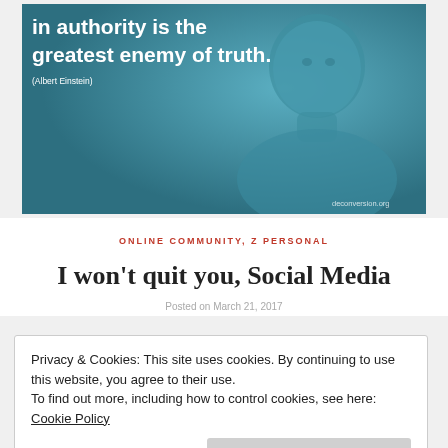[Figure (illustration): Teal/blue-toned image of a person (Albert Einstein) with overlaid quote text: 'in authority is the greatest enemy of truth.' Attribution: (Albert Einstein). Watermark: deconversion.org]
ONLINE COMMUNITY, Z PERSONAL
I won't quit you, Social Media
Posted on March 21, 2017
Privacy & Cookies: This site uses cookies. By continuing to use this website, you agree to their use.
To find out more, including how to control cookies, see here: Cookie Policy